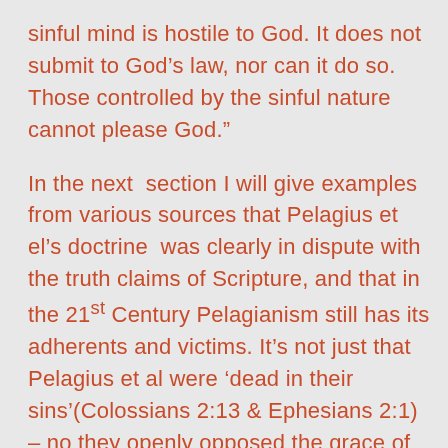sinful mind is hostile to God. It does not submit to God’s law, nor can it do so. Those controlled by the sinful nature cannot please God.”
In the next section I will give examples from various sources that Pelagius et el’s doctrine was clearly in dispute with the truth claims of Scripture, and that in the 21st Century Pelagianism still has its adherents and victims. It’s not just that Pelagius et al were ‘dead in their sins’(Colossians 2:13 & Ephesians 2:1) – no they openly opposed the grace of God